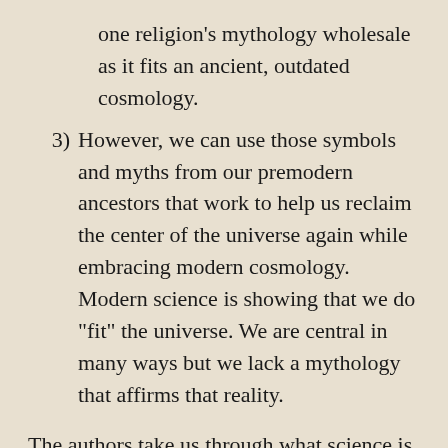one religion's mythology wholesale as it fits an ancient, outdated cosmology.
3) However, we can use those symbols and myths from our premodern ancestors that work to help us reclaim the center of the universe again while embracing modern cosmology. Modern science is showing that we do "fit" the universe. We are central in many ways but we lack a mythology that affirms that reality.
The authors take us through what science is uncovering about our cosmic history. We have come a long way in a decade regarding the size, age, and composition of the universe. When we look to the stars, we are looking at our history. The light from the farthest stars is light that is now